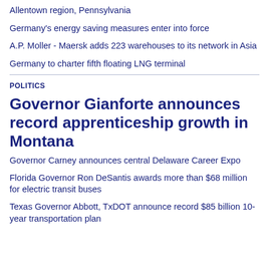Allentown region, Pennsylvania
Germany's energy saving measures enter into force
A.P. Moller - Maersk adds 223 warehouses to its network in Asia
Germany to charter fifth floating LNG terminal
POLITICS
Governor Gianforte announces record apprenticeship growth in Montana
Governor Carney announces central Delaware Career Expo
Florida Governor Ron DeSantis awards more than $68 million for electric transit buses
Texas Governor Abbott, TxDOT announce record $85 billion 10-year transportation plan